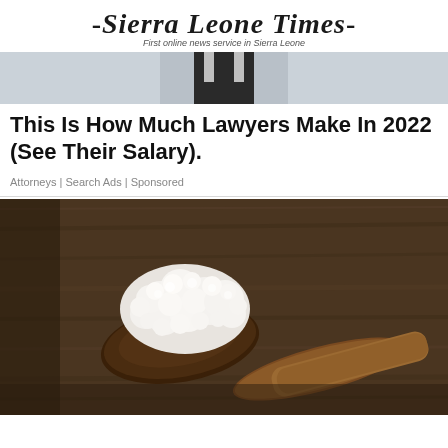-Sierra Leone Times- First online news service in Sierra Leone
[Figure (photo): Partial photo of a person in a dark suit, cropped to show torso only, against a light background]
This Is How Much Lawyers Make In 2022 (See Their Salary).
Attorneys | Search Ads | Sponsored
[Figure (photo): Close-up photo of kefir grains on a wooden spoon resting on a rustic wooden surface]